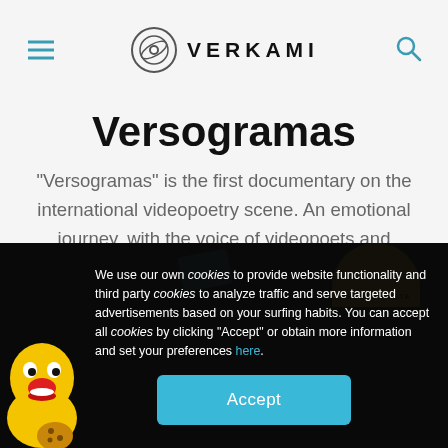VERKAMI
Versogramas
"Versogramas" is the first documentary on the international videopoetry scene. An emotional journey, with the voice of videopoets and researchers from all over the world. A kaleidoscope of image and sound.
[Figure (photo): Dark background image showing the Versogramas documentary visual with a yellow circular badge on the right and a yellow cartoon emoji character on the bottom left. A cookie consent banner overlays the bottom portion.]
We use our own cookies to provide website functionality and third party cookies to analyze traffic and serve targeted advertisements based on your surfing habits. You can accept all cookies by clicking “Accept” or obtain more information and set your preferences here.
Accept